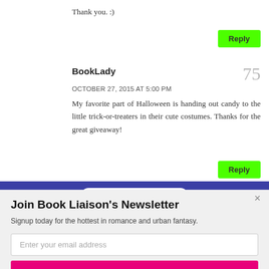Thank you. :)
Reply
BookLady
OCTOBER 27, 2015 AT 5:00 PM
My favorite part of Halloween is handing out candy to the little trick-or-treaters in their cute costumes. Thanks for the great giveaway!
Reply
[Figure (logo): POWERED BY SUMO badge on blue bar]
Join Book Liaison's Newsletter
Signup today for the hottest in romance and urban fantasy.
Enter your email address
Subscribe Now